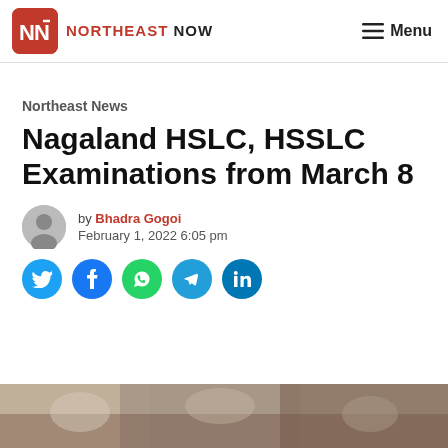NORTHEAST NOW — Menu
Northeast News
Nagaland HSLC, HSSLC Examinations from March 8
by Bhadra Gogoi
February 1, 2022 6:05 pm
[Figure (other): Social sharing buttons: Twitter, Facebook, WhatsApp, Telegram, LinkedIn]
[Figure (photo): Partial photo of students in examination setting, cropped at bottom of page]